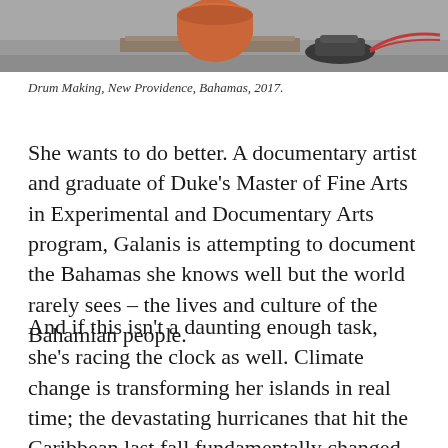[Figure (photo): Photograph showing drum making materials including an orange/red drum and a shoe, New Providence, Bahamas, 2017]
Drum Making, New Providence, Bahamas, 2017.
She wants to do better. A documentary artist and graduate of Duke's Master of Fine Arts in Experimental and Documentary Arts program, Galanis is attempting to document the Bahamas she knows well but the world rarely sees – the lives and culture of the Bahamian people.
And if this isn't a daunting enough task, she's racing the clock as well. Climate change is transforming her islands in real time; the devastating hurricanes that hit the Caribbean last fall fundamentally changed the Bahamas